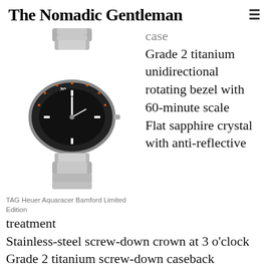The Nomadic Gentleman
[Figure (photo): TAG Heuer Aquaracer Bamford Limited Edition watch with titanium bracelet and black/orange bezel, viewed from above at an angle]
TAG Heuer Aquaracer Bamford Limited Edition
case
Grade 2 titanium unidirectional rotating bezel with 60-minute scale
Flat sapphire crystal with anti-reflective treatment
Stainless-steel screw-down crown at 3 o'clock
Grade 2 titanium screw-down caseback
Water resistant to 300 m (30 bar)